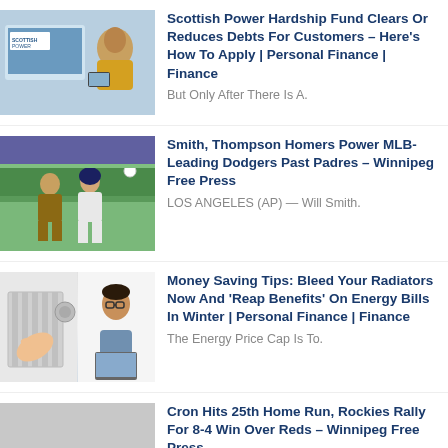[Figure (photo): Woman looking at a laptop with a ScottishPower banner visible]
Scottish Power Hardship Fund Clears Or Reduces Debts For Customers – Here's How To Apply | Personal Finance | Finance
But Only After There Is A.
[Figure (photo): Baseball players on field, Dodgers vs Padres game]
Smith, Thompson Homers Power MLB-Leading Dodgers Past Padres – Winnipeg Free Press
LOS ANGELES (AP) — Will Smith.
[Figure (photo): Composite image: hand adjusting radiator valve and man with glasses at laptop]
Money Saving Tips: Bleed Your Radiators Now And 'Reap Benefits' On Energy Bills In Winter | Personal Finance | Finance
The Energy Price Cap Is To.
[Figure (photo): Gray placeholder image for Rockies/Reds story]
Cron Hits 25th Home Run, Rockies Rally For 8-4 Win Over Reds – Winnipeg Free Press
CINCINNATI (AP) — Charlie